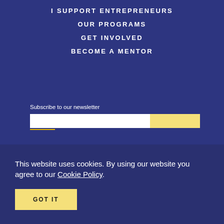I SUPPORT ENTREPRENEURS
OUR PROGRAMS
GET INVOLVED
BECOME A MENTOR
Subscribe to our newsletter
This website uses cookies. By using our website you agree to our Cookie Policy.
GOT IT